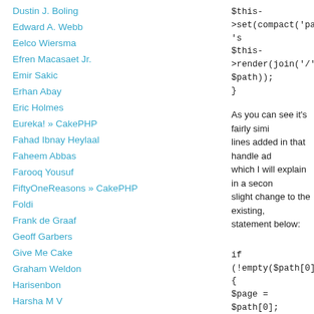Dustin J. Boling
Edward A. Webb
Eelco Wiersma
Efren Macasaet Jr.
Emir Sakic
Erhan Abay
Eric Holmes
Eureka! » CakePHP
Fahad Ibnay Heylaal
Faheem Abbas
Farooq Yousuf
FiftyOneReasons » CakePHP
Foldi
Frank de Graaf
Geoff Garbers
Give Me Cake
Graham Weldon
Harisenbon
Harsha M V
$this->set(compact('page', 's
$this->render(join('/', $path));
}

As you can see it's fairly similar with a few lines added in that handle admin page requests which I will explain in a second. There is also a slight change to the existing, if ($page) statement below:

if (!empty($path[0])) {
$page = $path[0];
}

and change it to:

if (!empty($path[0])) {
$page = $path[0];
if ($page == 'admin') {
//Sends admin page requests attempts
$this->redirect(array_merge(
'display', 'admin' => true), $pa
}